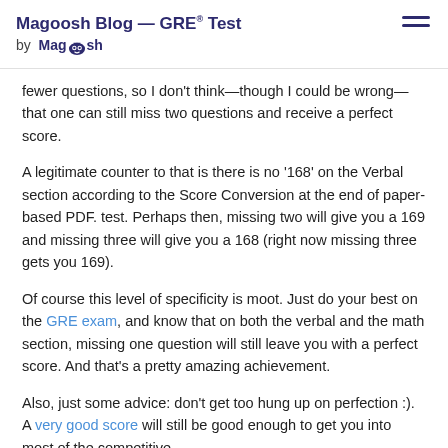Magoosh Blog — GRE® Test by Magoosh
fewer questions, so I don't think—though I could be wrong—that one can still miss two questions and receive a perfect score.
A legitimate counter to that is there is no '168' on the Verbal section according to the Score Conversion at the end of paper-based PDF. test. Perhaps then, missing two will give you a 169 and missing three will give you a 168 (right now missing three gets you 169).
Of course this level of specificity is moot. Just do your best on the GRE exam, and know that on both the verbal and the math section, missing one question will still leave you with a perfect score. And that's a pretty amazing achievement.
Also, just some advice: don't get too hung up on perfection :). A very good score will still be good enough to get you into most of the competitive...